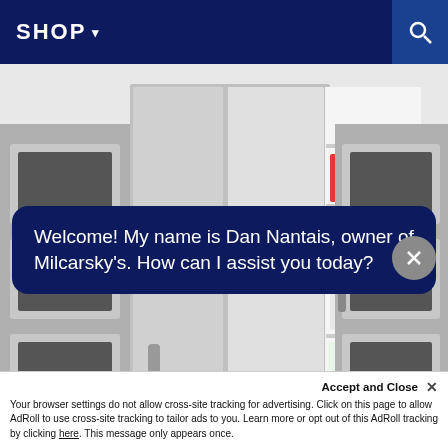SHOP ▾
[Figure (photo): Large stainless steel side-by-side refrigerator with right door open, showing interior shelves stocked with food and beverages. Built-in kitchen setting with wall ovens visible on both sides.]
Welcome! My name is Dan Nantais, owner of Milcarsky's. How can I assist you today?
Accept and Close ✕
Your browser settings do not allow cross-site tracking for advertising. Click on this page to allow AdRoll to use cross-site tracking to tailor ads to you. Learn more or opt out of this AdRoll tracking by clicking here. This message only appears once.
vegetable and climate-control drawers